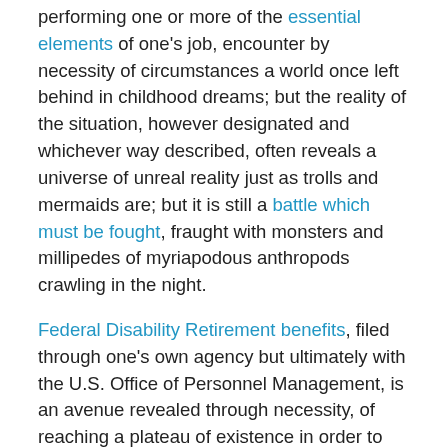performing one or more of the essential elements of one's job, encounter by necessity of circumstances a world once left behind in childhood dreams; but the reality of the situation, however designated and whichever way described, often reveals a universe of unreal reality just as trolls and mermaids are; but it is still a battle which must be fought, fraught with monsters and millipedes of myriapodous anthropods crawling in the night.
Federal Disability Retirement benefits, filed through one's own agency but ultimately with the U.S. Office of Personnel Management, is an avenue revealed through necessity, of reaching a plateau of existence in order to rehabilitate one's self from the world of adversity. The benefit is available for Federal and Postal workers who have the minimum time in-service requirements within the Federal Sector. It is a benefit which must be fought for,